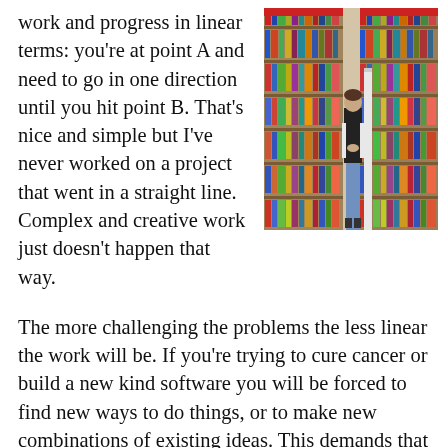work and progress in linear terms: you’re at point A and need to go in one direction until you hit point B. That’s nice and simple but I’ve never worked on a project that went in a straight line. Complex and creative work just doesn’t happen that way.
[Figure (photo): A person standing with their back to the camera in a bookstore or library, browsing tall shelves filled with colorful books. The shelves are wooden and extend from floor to ceiling. The person is wearing a dark t-shirt and jeans.]
The more challenging the problems the less linear the work will be. If you’re trying to cure cancer or build a new kind software you will be forced to find new ways to do things, or to make new combinations of existing ideas. This demands that many attempts will be made that are unsuccessful. You’ll need to try different